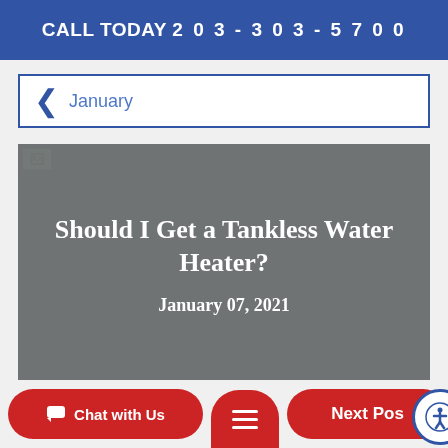CALL TODAY 203-303-5700
January
[Figure (other): Article card with grey overlay showing title 'Should I Get a Tankless Water Heater?' and date 'January 07, 2021']
Chat with Us | Menu | Next Post